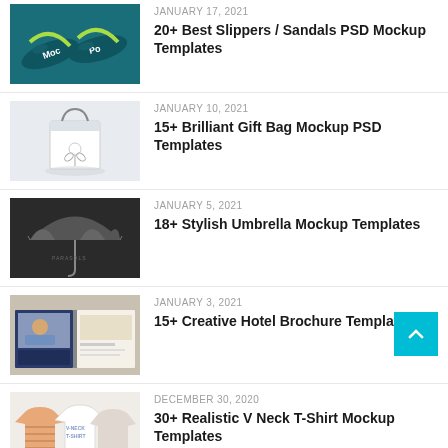JANUARY 17, 2021 — 20+ Best Slippers / Sandals PSD Mockup Templates
JANUARY 10, 2021 — 15+ Brilliant Gift Bag Mockup PSD Templates
JANUARY 5, 2021 — 18+ Stylish Umbrella Mockup Templates
JANUARY 3, 2021 — 15+ Creative Hotel Brochure Templates
DECEMBER 30, 2020 — 30+ Realistic V Neck T-Shirt Mockup Templates